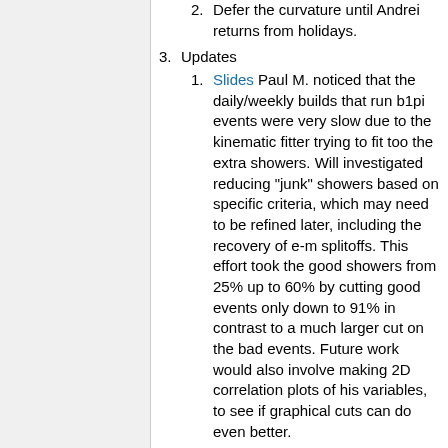2. Defer the curvature until Andrei returns from holidays.
3. Updates
1. Slides Paul M. noticed that the daily/weekly builds that run b1pi events were very slow due to the kinematic fitter trying to fit too the extra showers. Will investigated reducing "junk" showers based on specific criteria, which may need to be refined later, including the recovery of e-m splitoffs. This effort took the good showers from 25% up to 60% by cutting good events only down to 91% in contrast to a much larger cut on the bad events. Future work would also involve making 2D correlation plots of his variables, to see if graphical cuts can do even better.
4. Discuss and prioritize the